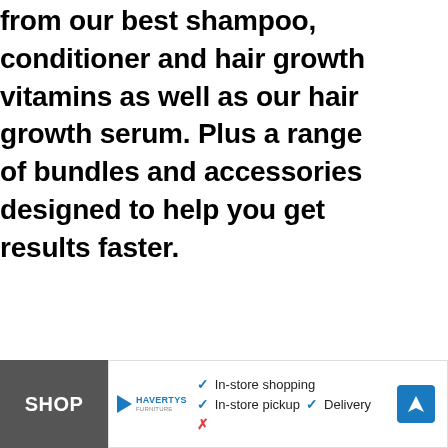from our best shampoo, conditioner and hair growth vitamins as well as our hair growth serum. Plus a range of bundles and accessories designed to help you get results faster.
[Figure (screenshot): Advertisement bar: SHOP label on dark background, Havertys furniture logo, checkmarks for In-store shopping, In-store pickup, Delivery, blue navigation/direction icon]